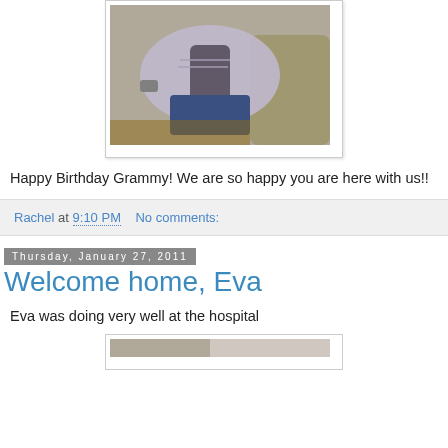[Figure (photo): Photo of a person lying on a couch wearing a light purple/gray hoodie and jeans, appearing to be resting]
Happy Birthday Grammy! We are so happy you are here with us!!
Rachel at 9:10 PM   No comments:
Thursday, January 27, 2011
Welcome home, Eva
Eva was doing very well at the hospital
[Figure (photo): Partial view of a second photo at the bottom of the page]